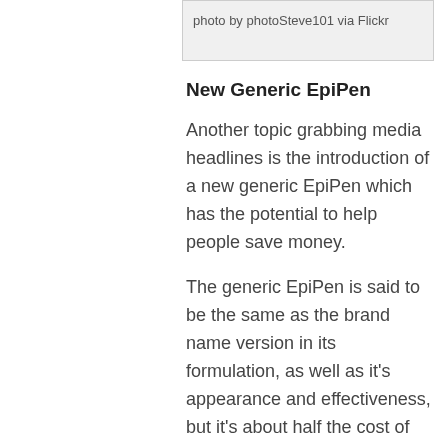photo by photoSteve101 via Flickr
New Generic EpiPen
Another topic grabbing media headlines is the introduction of a new generic EpiPen which has the potential to help people save money.
The generic EpiPen is said to be the same as the brand name version in its formulation, as well as it's appearance and effectiveness, but it's about half the cost of the brand-name version.
Medical professionals are advising people to speak with their pharmacist if they have a prescription for the EpiPen and they want to get the generic version, or if they want to request a new prescription for one that's no